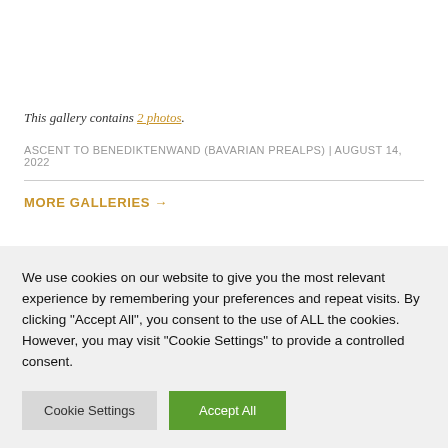This gallery contains 2 photos.
ASCENT TO BENEDIKTENWAND (BAVARIAN PREALPS) | AUGUST 14, 2022
MORE GALLERIES →
We use cookies on our website to give you the most relevant experience by remembering your preferences and repeat visits. By clicking "Accept All", you consent to the use of ALL the cookies. However, you may visit "Cookie Settings" to provide a controlled consent.